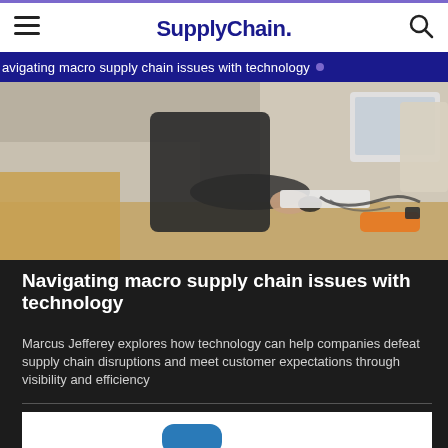SupplyChain.
navigating macro supply chain issues with technology
[Figure (photo): Person working at a desk with a computer monitor and keyboard, with cardboard boxes in a warehouse setting]
Navigating macro supply chain issues with technology
Marcus Jefferey explores how technology can help companies defeat supply chain disruptions and meet customer expectations through visibility and efficiency
[Figure (photo): Partial view of a second article card showing a blue graphic element at the bottom]